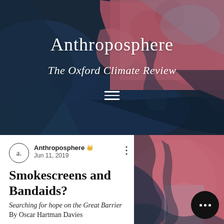[Figure (photo): Satellite aerial photograph showing coastal delta landscape with deep blue water channels and vivid pink/red vegetation patterns — used as the Anthroposphere magazine header background]
Anthroposphere
The Oxford Climate Review
Anthroposphere · Jun 11, 2019
Smokescreens and Bandaids?
Searching for hope on the Great Barrier
By Oscar Hartman Davies